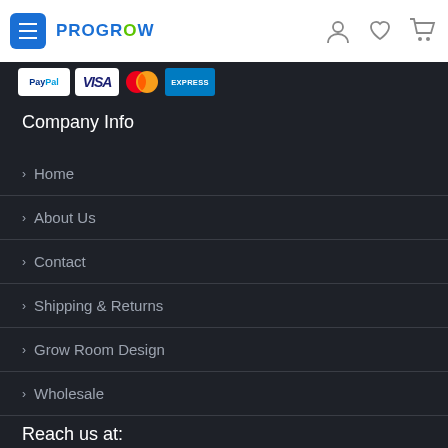PROGROW - navigation bar with menu, logo, user, wishlist, cart icons
[Figure (other): Payment method logos: PayPal, Visa, Mastercard, American Express]
Company Info
Home
About Us
Contact
Shipping & Returns
Grow Room Design
Wholesale
Reach us at:
Phone : +1 (905) 601 0965